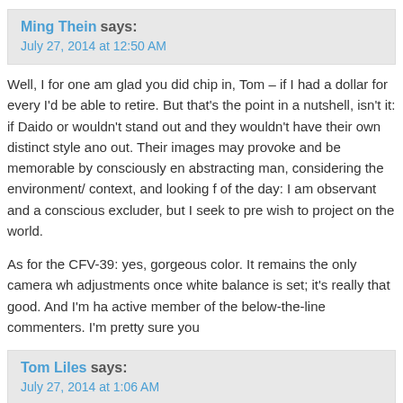Ming Thein says:
July 27, 2014 at 12:50 AM
Well, I for one am glad you did chip in, Tom – if I had a dollar for every I'd be able to retire. But that's the point in a nutshell, isn't it: if Daido or wouldn't stand out and they wouldn't have their own distinct style and out. Their images may provoke and be memorable by consciously en abstracting man, considering the environment/ context, and looking f of the day: I am observant and a conscious excluder, but I seek to pre wish to project on the world.
As for the CFV-39: yes, gorgeous color. It remains the only camera wh adjustments once white balance is set; it's really that good. And I'm ha active member of the below-the-line commenters. I'm pretty sure you
Tom Liles says:
July 27, 2014 at 1:06 AM
Aha!
Yes, actually—harmony is an excellent choice of word. Thanks for th in too much: but it also brings out why your photos of Tokyo are a